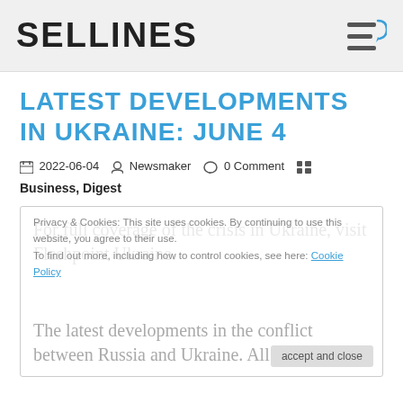SELLINES
LATEST DEVELOPMENTS IN UKRAINE: JUNE 4
2022-06-04  Newsmaker  0 Comment
Business, Digest
For full coverage of the crisis in Ukraine, visit Flashpoint Ukraine.
The latest developments in the conflict between Russia and Ukraine. All times EDT.